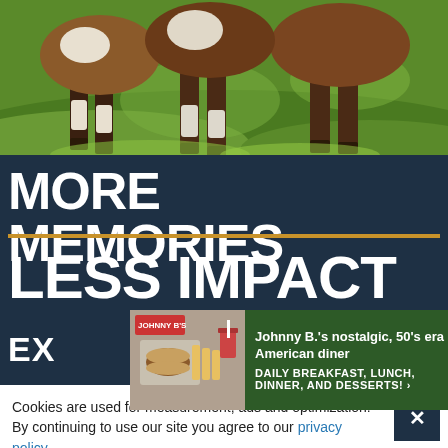[Figure (photo): Cows standing in a green grassy field, viewed from a low angle showing their legs and lower bodies]
MORE MEMORIES
LESS IMPACT
EX...LY
[Figure (infographic): Ad overlay for Johnny B.'s nostalgic 50's era American diner: DAILY BREAKFAST, LUNCH, DINNER, AND DESSERTS!]
Cookies are used for measurement, ads and optimization. By continuing to use our site you agree to our privacy policy.